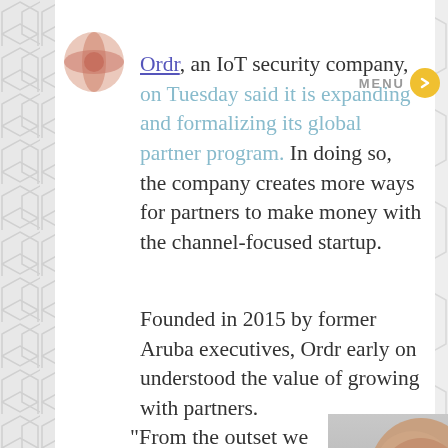[Figure (logo): Ordr company logo - circular pink/red symbol with overlapping circles]
MENU
Ordr, an IoT security company, on Tuesday said it is expanding and formalizing its global partner program. In doing so, the company creates more ways for partners to make money with the channel-focused startup.
Founded in 2015 by former Aruba executives, Ordr early on understood the value of growing with partners.
"From the outset we knew we needed to be a channel-first
[Figure (photo): Headshot photo of a bald man with glasses]